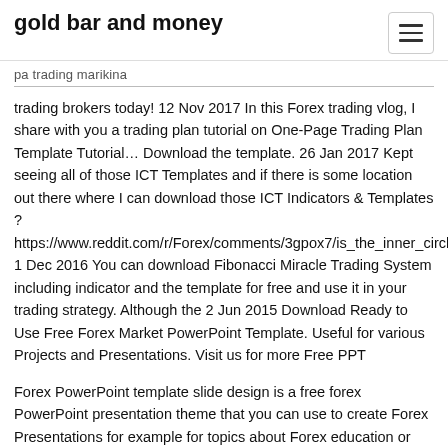gold bar and money
pa trading marikina
trading brokers today! 12 Nov 2017 In this Forex trading vlog, I share with you a trading plan tutorial on One-Page Trading Plan Template Tutorial… Download the template. 26 Jan 2017 Kept seeing all of those ICT Templates and if there is some location out there where I can download those ICT Indicators & Templates ? https://www.reddit.com/r/Forex/comments/3gpox7/is_the_inner_circle_trader_legit/ 1 Dec 2016 You can download Fibonacci Miracle Trading System including indicator and the template for free and use it in your trading strategy. Although the  2 Jun 2015 Download Ready to Use Free Forex Market PowerPoint Template. Useful for various Projects and Presentations. Visit us for more Free PPT
Forex PowerPoint template slide design is a free forex PowerPoint presentation theme that you can use to create Forex Presentations for example for topics about Forex education or CFD PowerPoint templates. You can use this free